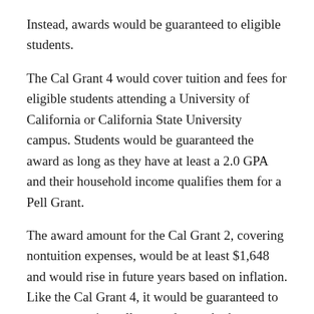Instead, awards would be guaranteed to eligible students.
The Cal Grant 4 would cover tuition and fees for eligible students attending a University of California or California State University campus. Students would be guaranteed the award as long as they have at least a 2.0 GPA and their household income qualifies them for a Pell Grant.
The award amount for the Cal Grant 2, covering nontuition expenses, would be at least $1,648 and would rise in future years based on inflation. Like the Cal Grant 4, it would be guaranteed to any community college students who have a household income low enough to qualify for a Pell Grant.
For the Cal Grant 2 award, there would be no GPA requirement. Currently, students need at least a 2.0 GPA to